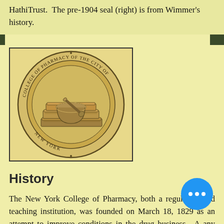HathiTrust.  The pre-1904 seal (right) is from Wimmer's history.
[Figure (illustration): Circular seal of the College of Pharmacy of the City of New York, featuring a mortar and pestle resting on stacked books, with text around the border reading 'COLLEGE OF PHARMACY OF THE CITY OF NEW YORK']
History
The New York College of Pharmacy, both a regulatory and teaching institution, was founded on March 18, 1829 as an attempt to improve conditions in the drug business.  A any business might dispense drugs; many pharmacists assumed the role of